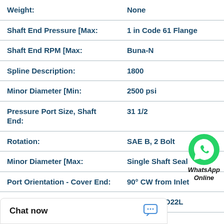| Property | Value |
| --- | --- |
| Weight: | None |
| Shaft End Pressure [Max: | 1 in Code 61 Flange |
| Shaft End RPM [Max: | Buna-N |
| Spline Description: | 1800 |
| Minor Diameter [Min: | 2500 psi |
| Pressure Port Size, Shaft End: | 31 1/2 |
| Rotation: | SAE B, 2 Bolt |
| Minor Diameter [Max: | Single Shaft Seal |
| Port Orientation - Cover End: | 90° CW from Inlet |
|  | 25V21A-11D22L |